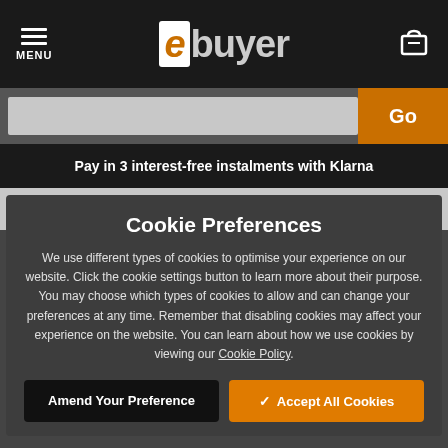MENU / ebuyer logo / cart icon
Go
Pay in 3 interest-free instalments with Klarna
< Labels
Cookie Preferences
We use different types of cookies to optimise your experience on our website. Click the cookie settings button to learn more about their purpose. You may choose which types of cookies to allow and can change your preferences at any time. Remember that disabling cookies may affect your experience on the website. You can learn about how we use cookies by viewing our Cookie Policy.
Amend Your Preference
✓ Accept All Cookies